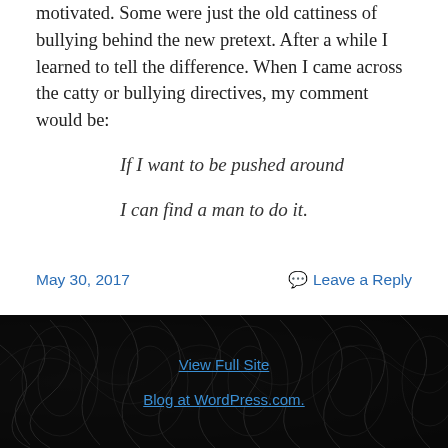motivated. Some were just the old cattiness of bullying behind the new pretext. After a while I learned to tell the difference. When I came across the catty or bullying directives, my comment would be:
If I want to be pushed around
I can find a man to do it.
May 30, 2017
Leave a Reply
View Full Site
Blog at WordPress.com.